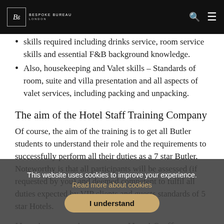Bespoke Bureau London
skills required including drinks service, room service skills and essential F&B background knowledge.
Also, housekeeping and Valet skills – Standards of room, suite and villa presentation and all aspects of valet services, including packing and unpacking.
The aim of the Hotel Staff Training Company
Of course, the aim of the training is to get all Butler students to understand their role and the requirements to successfully perform all their duties as a 7 star Butler. Noteworthy is that all participants will be assessed (if requested by you) and deemed competent to fulfil all duties expected by VIP clients and guests standards of 5 star Hotels.
How long are the Hotel Staff Training Company?
This website uses cookies to improve your experience. Read more about cookies